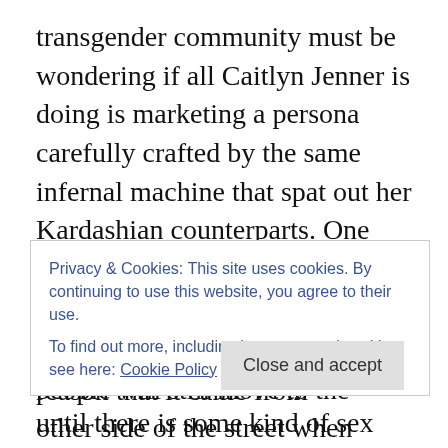transgender community must be wondering if all Caitlyn Jenner is doing is marketing a persona carefully crafted by the same infernal machine that spat out her Kardashian counterparts. One individual I know personally who is about to begin the transition from male to female has gone so far as to say that until there is some kind of sex reassignment procedure, what has been captured for all the world to marvel at is, and I quote, “Bruce Jenner in drag. He’s making me feel like a circus freak.” The use of the pronoun “he” is especially noteworthy if for no other reason that it came from someone who is also struggling
Privacy & Cookies: This site uses cookies. By continuing to use this website, you agree to their use.
To find out more, including how to control cookies, see here: Cookie Policy
people will still move to the other side of the street when